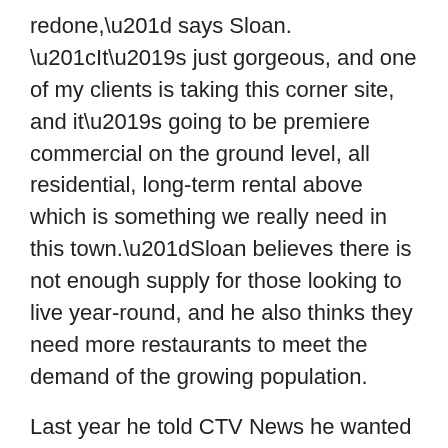redone,” says Sloan. “It’s just gorgeous, and one of my clients is taking this corner site, and it’s going to be premiere commercial on the ground level, all residential, long-term rental above which is something we really need in this town.”Sloan believes there is not enough supply for those looking to live year-round, and he also thinks they need more restaurants to meet the demand of the growing population.
Last year he told CTV News he wanted to see his hometown become a “Mini-Whistler.”
“It’s pretty cool that we’re going to have these kind of developments going up, mixed in with the original stuff, which has been re-faced and it’s just going to be gorgeous,” said Sloan.